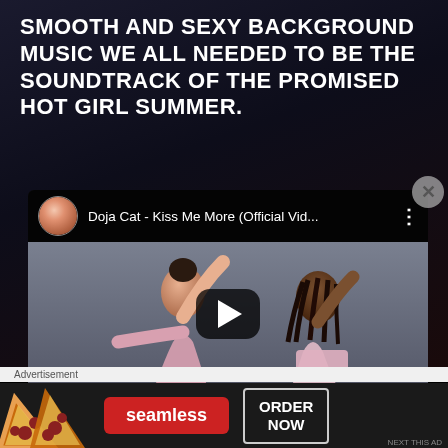SMOOTH AND SEXY BACKGROUND MUSIC WE ALL NEEDED TO BE THE SOUNDTRACK OF THE PROMISED HOT GIRL SUMMER.
[Figure (screenshot): YouTube video embed showing Doja Cat - Kiss Me More (Official Vid...) with two women in pink outfits dancing, a play button overlay, artist avatar, video title, and three-dot menu icon.]
Advertisement
[Figure (screenshot): Advertisement banner with pizza image on left, Seamless red logo button in center, ORDER NOW button on right, all on dark background.]